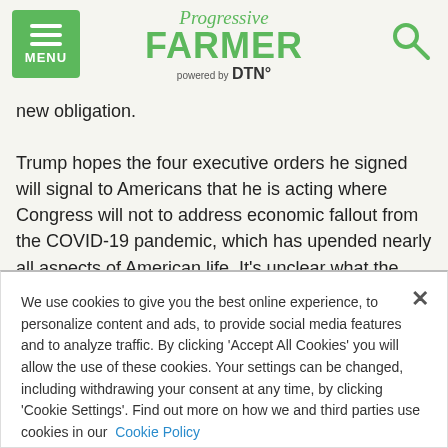Progressive FARMER powered by DTN
new obligation.

Trump hopes the four executive orders he signed will signal to Americans that he is acting where Congress will not to address economic fallout from the COVID-19 pandemic, which has upended nearly all aspects of American life. It's unclear what the economic impact of his actions will be, and his orders do not address several areas that have been part of the congressional negotiations, including funding for schools and state and local
We use cookies to give you the best online experience, to personalize content and ads, to provide social media features and to analyze traffic. By clicking 'Accept All Cookies' you will allow the use of these cookies. Your settings can be changed, including withdrawing your consent at any time, by clicking 'Cookie Settings'. Find out more on how we and third parties use cookies in our Cookie Policy
Cookies Settings   Accept All Cookies